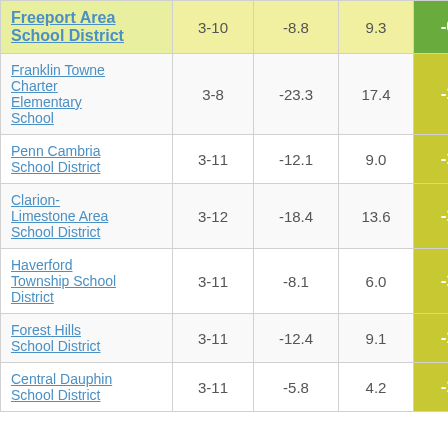| School/District | Grades | Col3 | Col4 | Score |
| --- | --- | --- | --- | --- |
| Freeport Area School District | 3-10 | -8.8 | 9.3 | -0.94 |
| Franklin Towne Charter Elementary School | 3-8 | -23.3 | 17.4 | -1.34 |
| Penn Cambria School District | 3-11 | -12.1 | 9.0 | -1.35 |
| Clarion-Limestone Area School District | 3-12 | -18.4 | 13.6 | -1.35 |
| Haverford Township School District | 3-11 | -8.1 | 6.0 | -1.35 |
| Forest Hills School District | 3-11 | -12.4 | 9.1 | -1.36 |
| Central Dauphin School District | 3-11 | -5.8 | 4.2 | -1.37 |